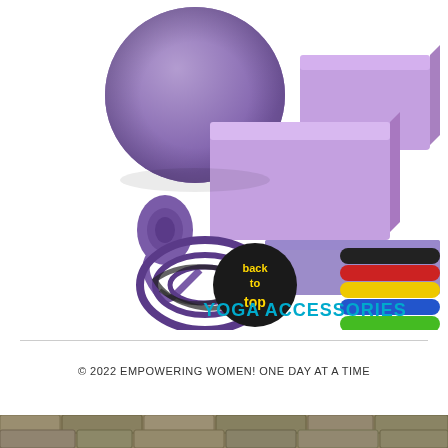[Figure (photo): Yoga accessories set including a large purple exercise ball, two purple foam yoga blocks, a purple yoga mat, a rolled purple yoga strap, a purple multi-loop stretching strap, and five resistance bands in black, red, yellow, blue, and green. A circular black 'back to top' button overlays the lower left. Text 'YOGA ACCESSORIES' in cyan/teal bold appears at the bottom right of the image.]
© 2022 EMPOWERING WOMEN! ONE DAY AT A TIME
[Figure (photo): Bottom strip showing a textured stone or cobblestone ground surface, partially visible at the very bottom of the page.]